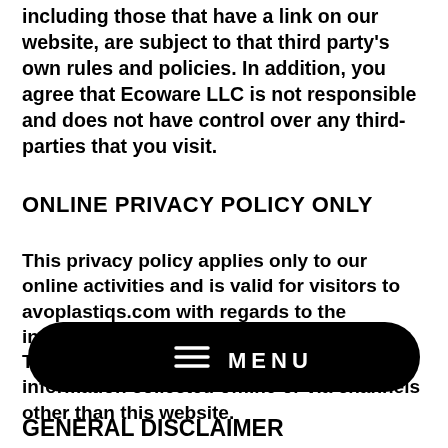including those that have a link on our website, are subject to that third party's own rules and policies. In addition, you agree that Ecoware LLC is not responsible and does not have control over any third-parties that you visit.
ONLINE PRIVACY POLICY ONLY
This privacy policy applies only to our online activities and is valid for visitors to avoplastiqs.com with regards to the information that is shared and/or collected. This policy is not applicable to any information collected offline or via channels other than this website.
[Figure (other): A black rounded rectangle navigation bar with hamburger menu icon and the text MENU in white capital letters]
GENERAL DISCLAIMER